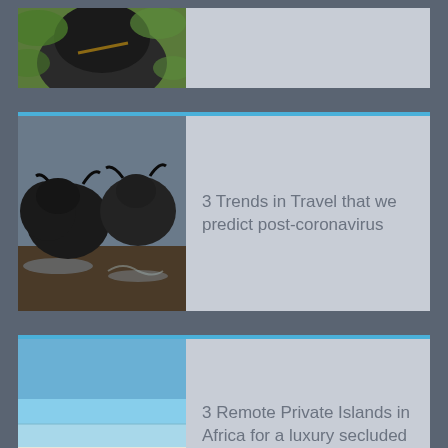[Figure (photo): Partial card at top showing a gorilla or dark animal among green foliage]
[Figure (photo): Card with wildebeest/buffalo crossing a river, splashing water]
3 Trends in Travel that we predict post-coronavirus
[Figure (photo): Card with beach scene showing blue sky, white sand beach and lounge chairs]
3 Remote Private Islands in Africa for a luxury secluded beach break
[Figure (photo): Partial card at bottom showing green tropical foliage]